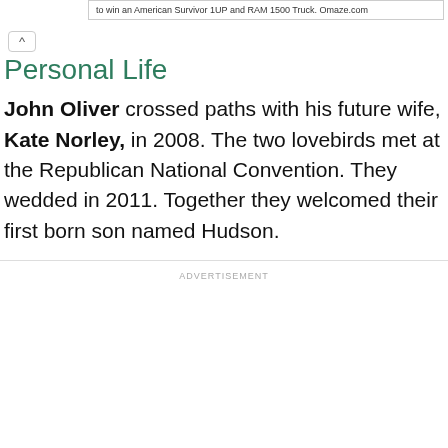to win an American Survivor 1UP and RAM 1500 Truck. Omaze.com
Personal Life
John Oliver crossed paths with his future wife, Kate Norley, in 2008. The two lovebirds met at the Republican National Convention. They wedded in 2011. Together they welcomed their first born son named Hudson.
ADVERTISEMENT